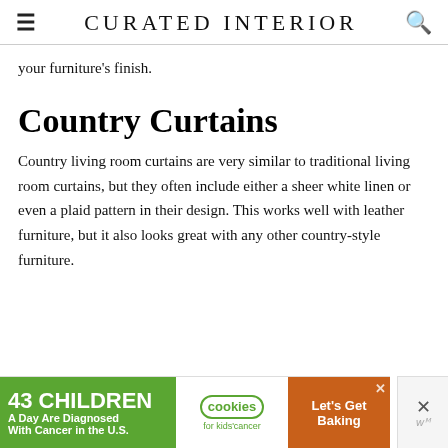CURATED INTERIOR
your furniture's finish.
Country Curtains
Country living room curtains are very similar to traditional living room curtains, but they often include either a sheer white linen or even a plaid pattern in their design. This works well with leather furniture, but it also looks great with any other country-style furniture.
[Figure (other): Advertisement banner: '43 CHILDREN A Day Are Diagnosed With Cancer in the U.S.' with Cookies for kids' cancer logo and 'Let's Get Baking' text on orange background]